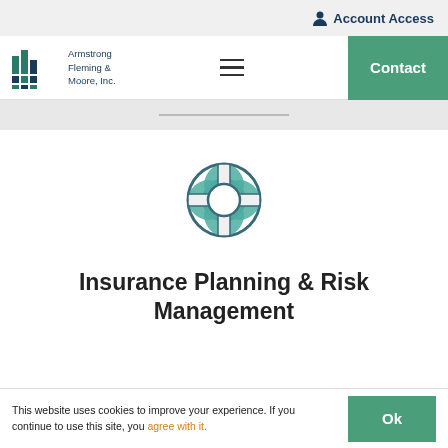Account Access
[Figure (logo): Armstrong Fleming & Moore, Inc. (AFM) logo with teal/blue bar chart icon and company name]
[Figure (other): Hamburger menu icon (three horizontal lines)]
Contact
[Figure (illustration): Life preserver / life ring icon in teal and dark blue outline style]
Insurance Planning & Risk Management
This website uses cookies to improve your experience. If you continue to use this site, you agree with it.